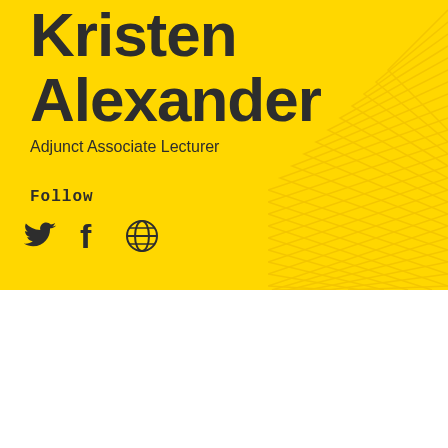Kristen Alexander
Adjunct Associate Lecturer
Follow
[Figure (infographic): Social media icons: Twitter bird icon, Facebook f icon, globe/website icon]
[Figure (illustration): Decorative yellow chevron pattern in top-right corner of yellow section]
Email
Kristen.Alexander@adfa.edu.au